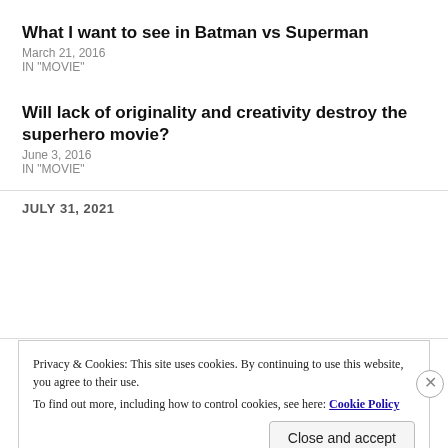What I want to see in Batman vs Superman
March 21, 2016
IN "MOVIE"
Will lack of originality and creativity destroy the superhero movie?
June 3, 2016
IN "MOVIE"
JULY 31, 2021
Privacy & Cookies: This site uses cookies. By continuing to use this website, you agree to their use. To find out more, including how to control cookies, see here: Cookie Policy
Close and accept